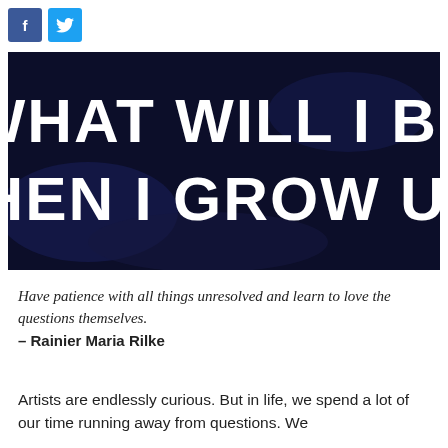[Figure (screenshot): Black background image with large white handwritten-style text reading 'WHAT WILL I BE WHEN I GROW UP?']
Have patience with all things unresolved and learn to love the questions themselves.
– Rainier Maria Rilke
Artists are endlessly curious. But in life, we spend a lot of our time running away from questions. We